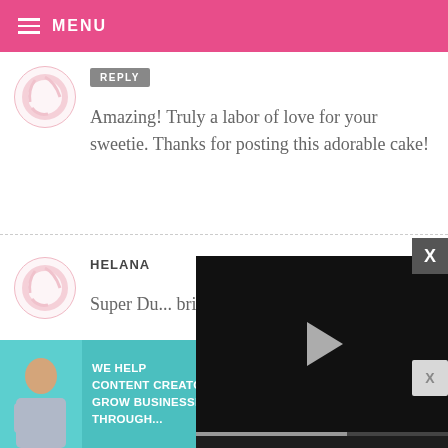MENU
REPLY
Amazing! Truly a labor of love for your sweetie. Thanks for posting this adorable cake!
HELANA
Super Du... brilliant!
[Figure (screenshot): Video player overlay showing a black video player with a play button, progress bar, time 13:52, CC button, grid button, settings gear, and fullscreen button]
[Figure (infographic): SHE Partner Network advertisement banner: 'WE HELP CONTENT CREATORS GROW BUSINESSES THROUGH...' with SHE logo and LEARN MORE button]